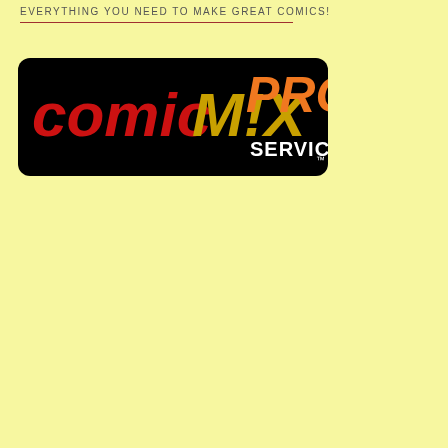EVERYTHING YOU NEED TO MAKE GREAT COMICS!
[Figure (logo): ComicMix Pro Services logo on black rounded rectangle background. 'comic' in red bold stylized text, 'M!X' in yellow/gold bold stylized text, 'PRO' in orange bold stylized text, 'SERVICES' in white bold text below PRO.]